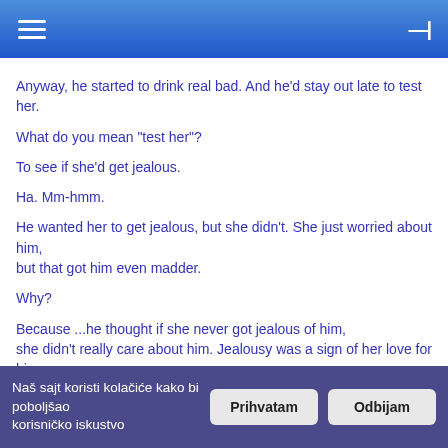≡  —|
Anyway, he started to drink real bad. And he'd stay out late to test her.
What do you mean "test her"?
To see if she'd get jealous.
Ha. Mm-hmm.
He wanted her to get jealous, but she didn't. She just worried about him, but that got him even madder.
Why?
Because ...he thought if she never got jealous of him, she didn't really care about him. Jealousy was a sign of her love for him. And then one night, one night, she told him she was pregnant. She was about three or fourth month pregnant, and he didn't even know. And then suddenly everything changed. He stopped
Naš sajt koristi kolačiće kako bi poboljšao korisničko iskustvo